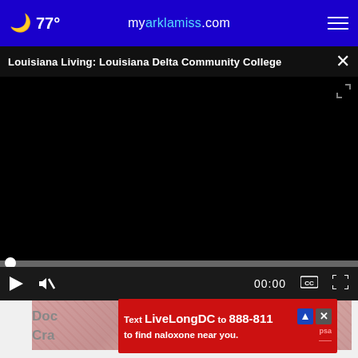77° myarklamiss.com
Louisiana Living: Louisiana Delta Community College
[Figure (screenshot): Black video player area (paused/unloaded state)]
[Figure (photo): Pink/red textured thumbnail image below video controls]
Doc
Cra
[Figure (infographic): Red advertisement banner: 'Text LiveLongDC to 888-811 to find naloxone near you.']